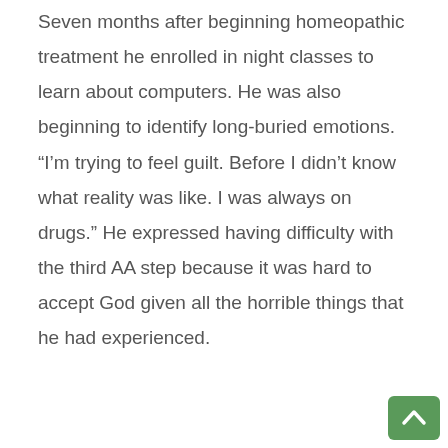Seven months after beginning homeopathic treatment he enrolled in night classes to learn about computers. He was also beginning to identify long-buried emotions. “I’m trying to feel guilt. Before I didn’t know what reality was like. I was always on drugs.” He expressed having difficulty with the third AA step because it was hard to accept God given all the horrible things that he had experienced.